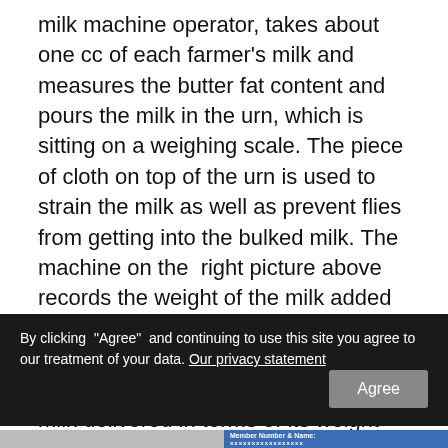milk machine operator, takes about one cc of each farmer's milk and measures the butter fat content and pours the milk in the urn, which is sitting on a weighing scale. The piece of cloth on top of the urn is used to strain the milk as well as prevent flies from getting into the bulked milk. The machine on the right picture above records the weight of the milk added to the urn and the machine to the left records the butterfat content and calculates the monetary value of the milk delivered in terms of its weight and butter fat content.The farmer is then issued with a receipt stating the date and time, quantity of milk collected and the price the farmer will be
By clicking "Agree" and continuing to use this site you agree to our treatment of your data. Our privacy statement
[Figure (screenshot): Bottom strip showing a photo on the left and a blue panel with 'Member Number & Name:' text on the right]